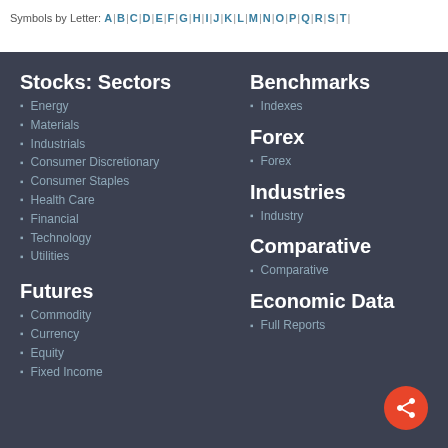Symbols by Letter: A | B | C | D | E | F | G | H | I | J | K | L | M | N | O | P | Q | R | S | T |
Stocks: Sectors
Energy
Materials
Industrials
Consumer Discretionary
Consumer Staples
Health Care
Financial
Technology
Utilities
Futures
Commodity
Currency
Equity
Fixed Income
Benchmarks
Indexes
Forex
Forex
Industries
Industry
Comparative
Comparative
Economic Data
Full Reports